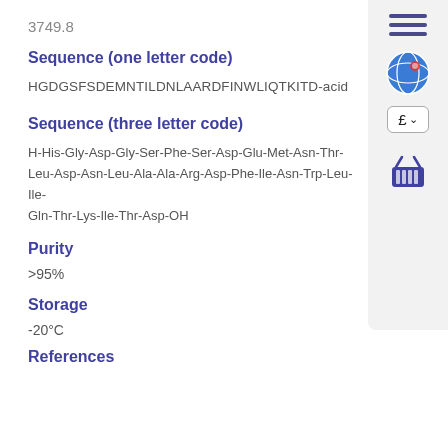3749.8
Sequence (one letter code)
HGDGSFSDEMNTILDNLAARDFINWLIQTKITD-acid
Sequence (three letter code)
H-His-Gly-Asp-Gly-Ser-Phe-Ser-Asp-Glu-Met-Asn-Thr-Ile-Leu-Asp-Asn-Leu-Ala-Ala-Arg-Asp-Phe-Ile-Asn-Trp-Leu-Ile-Gln-Thr-Lys-Ile-Thr-Asp-OH
Purity
>95%
Storage
-20°C
References